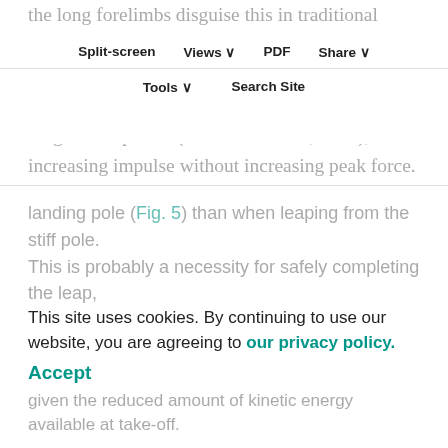the long forelimbs disguise this in traditional indices such as the intermembral index), which helps to compensate for the downward movement of the body, allowing force production over a longer time period (Preuschoft et al., 1996), so increasing impulse without increasing peak force. A downside of this tactic is that the extra impulse gained compared with leaps from stiff poles (Fig. 4B) is used in deflecting the compliant pole, and is not used to accelerate the centre of mass (Figs 5, 6 and 7). The increased hip joint excursion also allows the gibbon to effectively reduce the leap distance by maintaining pole contact until the centre of mass is further toward the landing pole (Fig. 5) than when leaping from the stiff pole. This is probably a necessity for safely completing the leap, given the reduced amount of kinetic energy available at take-off.
Split-screen | Views | PDF | Share | Tools | Search Site
This site uses cookies. By continuing to use our website, you are agreeing to our privacy policy.
Accept